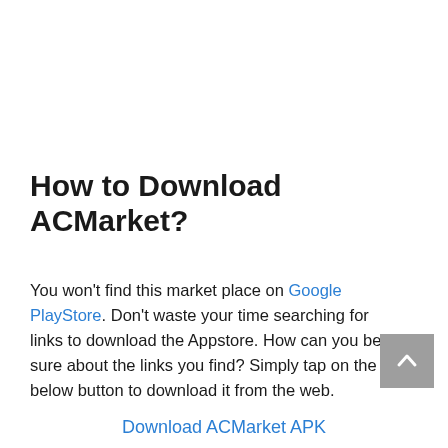How to Download ACMarket?
You won't find this market place on Google PlayStore. Don't waste your time searching for links to download the Appstore. How can you be sure about the links you find? Simply tap on the below button to download it from the web.
Download ACMarket APK